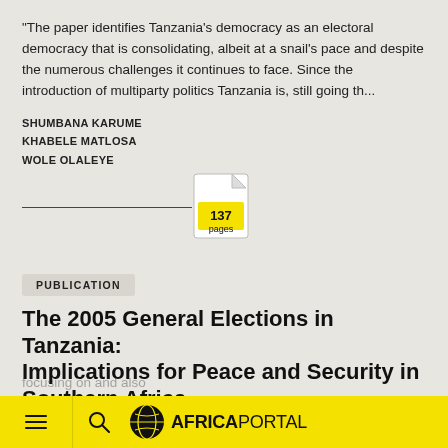"The paper identifies Tanzania's democracy as an electoral democracy that is consolidating, albeit at a snail's pace and despite the numerous challenges it continues to face. Since the introduction of multiparty politics Tanzania is, still going th...
SHUMBANA KARUME
KHABELE MATLOSA
WOLE OLALEYE
[Figure (other): Document icon showing 137 pages in a yellow box]
PUBLICATION
The 2005 General Elections in Tanzania: Implications for Peace and Security in Southern Africa
"This paper examines the significance of the recently concluded general elections in Tanzania for the consolidation of democracy in the country, whilst
≡  🔍  AFRICAPORTAL